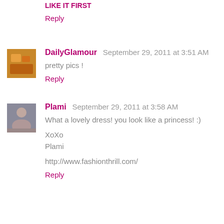LIKE IT FIRST
Reply
DailyGlamour  September 29, 2011 at 3:51 AM
pretty pics !
Reply
Plami  September 29, 2011 at 3:58 AM
What a lovely dress! you look like a princess! :)

XoXo
Plami

http://www.fashionthrill.com/
Reply